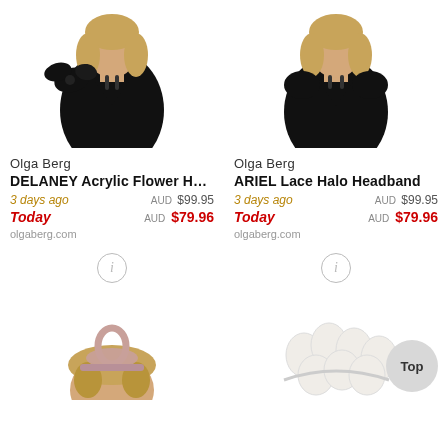[Figure (photo): Model wearing black dress, large bow detail on shoulder, Olga Berg product photo - left]
[Figure (photo): Model wearing black dress with puff sleeves, Olga Berg product photo - right]
Olga Berg
DELANEY Acrylic Flower H…
3 days ago  AUD $99.95  Today  AUD $79.96  olgaberg.com
Olga Berg
ARIEL Lace Halo Headband
3 days ago  AUD $99.95  Today  AUD $79.96  olgaberg.com
[Figure (photo): Fascinator hat with loop detail, pink/nude color, bottom left product]
[Figure (photo): White floral headpiece with petal shapes, bottom right product]